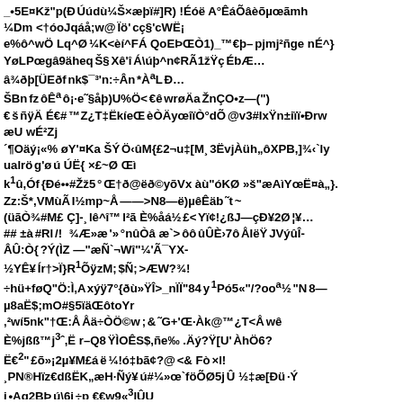_•5E¤Kž"p(Ð Úúdù¼Š×æþï#]R) !Éóë A°ÊáÕâèõµœãmh ¼Dm <†óoJqáå;w@ Ïö'cç§'cWË¡ e%ô^wÖ Lq^Ø ¼K<èí^FÁ QoEÞŒÒ1)_™€þ– pjmj²ñge nÉ^} YøLPœgâ9äheq Š§ Xê'î Á\úþ^n¢RÃ1žŸç ÉbÆ… â¾ðþ[ÜEðf nk$¯³'n:÷Ân *À°L Ð… ŠBn fz ôÊ³ ô¡·e˜§åþ)U%Ö< €ê wrøÄa ŽnÇO•z—(") € š ñÿÄ É€# ™ Z¿T‡ËkíeŒ èÒÄyœîïÒ°dÕ @v3#IxŸn±iïï•ÐrwP æU wÉ²Zj ´¶Oäý¡«% øY'¤Ka ŠÝ Ö‹ûM{£2¬u‡[M¸ 3ËvjÀüh„ôXPB,]¾‹`lý ualrö g'ø ú ÚË{ ×£~Ø Œì k¹û,Óf {Ðé••#Žž5 °Œ†ð@ëð©yõVx àù"óKØ »š"æAìYœË¤à„}. Zz:Š*,VMùÃ I½mp~Å —>N8—ë)µêÊäb ˜t ~ (üãÒ¾#M£ Ç]-¸ lê^î™ I²ã È%åá½ £< Yï¢!¿ßJ—çÐ¥2Ø ¦¥… ## ±à #Rl /! ¾Æ»æ '»°nûÒâ æ`> ôôûÛÈ›7ô ÅIëŸ JVýûI- ÂÛ:Ò{ ?Ý(ÌZ —"æÑ`¬Wî"¼'Ã¯YX- ½YÊ¥ Ír†>Ï}R¹ÕÿzM; $Ñ; >ÆW?¾! ÷hü+føQ"Ö:Ì,A xýÿ7°{ðù»ŸÎ>_nÏÏ"84 y ¹Pó5«"/?oo°½ "N 8— µ8aË$;mO#§5ïäŒôtoYr ‚²wí5nk"†Œ:Å ÅäÖÖ©w ; & ˜G+'Œ·Àk@™¿T<Å wê È%jßß™j³ˆ,Ë r–Q8 ŸÌOÊS$,ñe‰ .Äý?Ÿ[U' ÀhÖ6? Ë€²" £õ»¡2µ¥M£á ë ¼!ó‡bã¢?@ < &  Fò ×l! ¸PN®Hïz€dßËK„æH·Ñý¥ ú#¼»œ`föÕØ5j Û ½‡æ[ÐüI·Ý i •Aq2BÞ ú\6i ÷p €€w9«³lÛU Ž¼J²Hì å1" X`° Ê*·ž\ jÔÚàg¢Bã ÖD ¶? ˜ Uù3]Õ# oŸ˜ÊÁ0 Ø æà ïÿ ð(wØ:7 ü4KØ¬ŠhiI\O ‚¸í'q